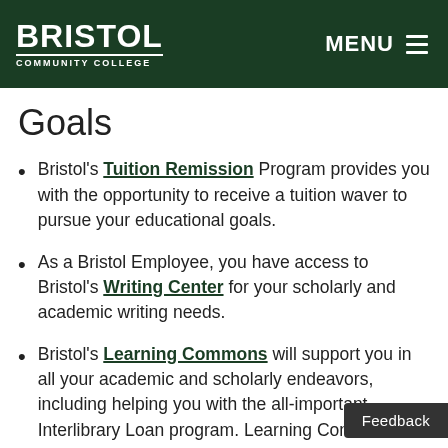BRISTOL COMMUNITY COLLEGE | MENU
Goals
Bristol's Tuition Remission Program provides you with the opportunity to receive a tuition waver to pursue your educational goals.
As a Bristol Employee, you have access to Bristol's Writing Center for your scholarly and academic writing needs.
Bristol's Learning Commons will support you in all your academic and scholarly endeavors, including helping you with the all-important Interlibrary Loan program. Learning Commons also